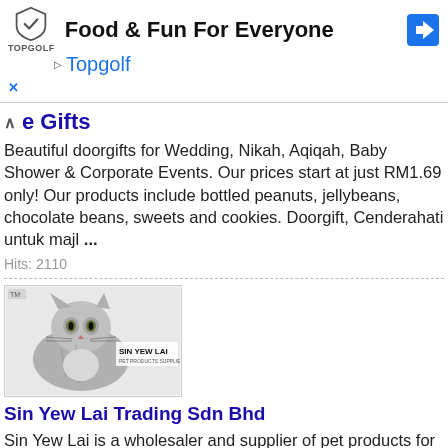[Figure (screenshot): Topgolf advertisement banner with shield logo, 'Food & Fun For Everyone' headline, navigation arrow icon, play button, Topgolf link, and close X button]
e Gifts
Beautiful doorgifts for Wedding, Nikah, Aqiqah, Baby Shower & Corporate Events. Our prices start at just RM1.69 only! Our products include bottled peanuts, jellybeans, chocolate beans, sweets and cookies. Doorgift, Cenderahati untuk majl ...
Hits: 2110
[Figure (photo): Sin Yew Lai company logo showing a grey tabby cat with 'SIN YEW LAI' text overlay]
Sin Yew Lai Trading Sdn Bhd
Sin Yew Lai is a wholesaler and supplier of pet products for Cats, Dogs, Small Animals and Birds. The company supply its products throughout the whole of Peninsular Malaysia, Sabah and Sawarak. Additionally, we export